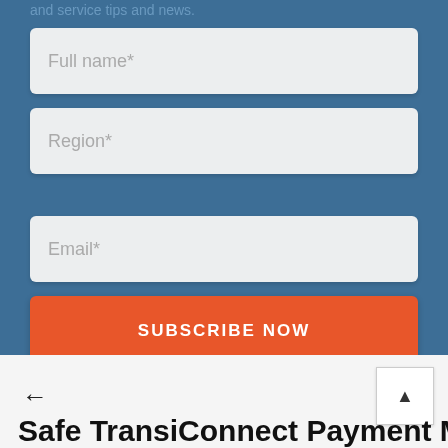and service tips and news.
[Figure (screenshot): Web form with Full name*, Region*, and Email* input fields on a blue background, with an orange SUBSCRIBE NOW button]
← (back arrow)
Safe TransiConnect Payment Method...